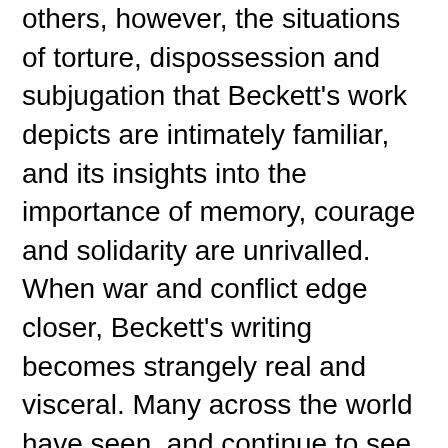others, however, the situations of torture, dispossession and subjugation that Beckett's work depicts are intimately familiar, and its insights into the importance of memory, courage and solidarity are unrivalled. When war and conflict edge closer, Beckett's writing becomes strangely real and visceral. Many across the world have seen, and continue to see, deep and immediate political resonances in a body of work revolving around ruins, ashes, mud and stones, around waiting and suffering, and around terror, devastation, internment and forced exile.